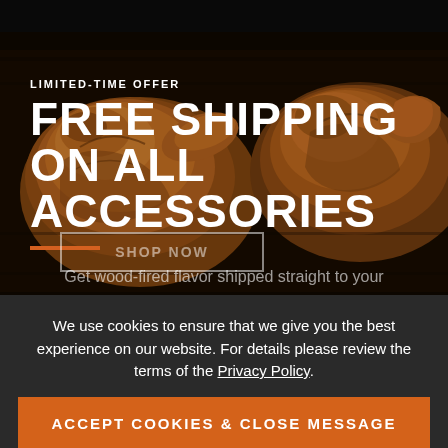[Figure (photo): Grilled chicken pieces on a dark BBQ grill rack, with golden-brown roasted skin, viewed from above. Dark dramatic lighting.]
LIMITED-TIME OFFER
FREE SHIPPING ON ALL ACCESSORIES
Get wood-fired flavor shipped straight to your
We use cookies to ensure that we give you the best experience on our website. For details please review the terms of the Privacy Policy.
SHOP NOW
ACCEPT COOKIES & CLOSE MESSAGE
Disable cookies